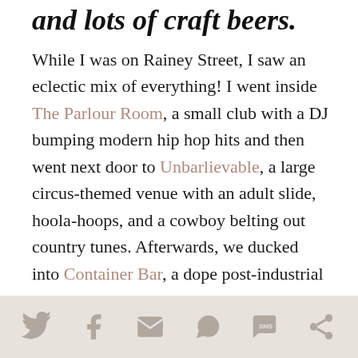and lots of craft beers.
While I was on Rainey Street, I saw an eclectic mix of everything! I went inside The Parlour Room, a small club with a DJ bumping modern hip hop hits and then went next door to Unbarlievable, a large circus-themed venue with an adult slide, hoola-hoops, and a cowboy belting out country tunes. Afterwards, we ducked into Container Bar, a dope post-industrial two story structure made out of multicolored stacked shipping containers. The design was pretty wild. Rainey Street might be my favorite spot for a pub crawl in Austin, but it could
Social share icons: Twitter, Facebook, Email, WhatsApp, SMS, More